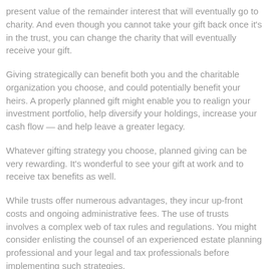present value of the remainder interest that will eventually go to charity. And even though you cannot take your gift back once it's in the trust, you can change the charity that will eventually receive your gift.
Giving strategically can benefit both you and the charitable organization you choose, and could potentially benefit your heirs. A properly planned gift might enable you to realign your investment portfolio, help diversify your holdings, increase your cash flow — and help leave a greater legacy.
Whatever gifting strategy you choose, planned giving can be very rewarding. It's wonderful to see your gift at work and to receive tax benefits as well.
While trusts offer numerous advantages, they incur up-front costs and ongoing administrative fees. The use of trusts involves a complex web of tax rules and regulations. You might consider enlisting the counsel of an experienced estate planning professional and your legal and tax professionals before implementing such strategies.